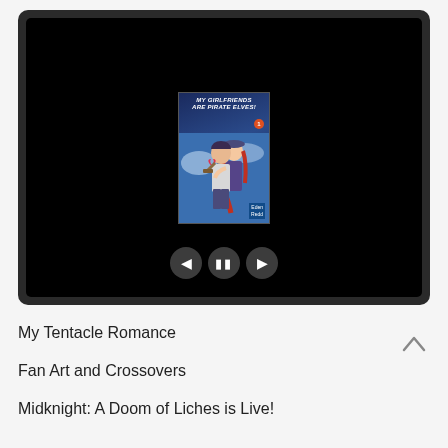[Figure (screenshot): A tablet/e-reader screen showing a manga book cover titled 'My Girlfriends Are Pirate Elves!' Volume 1 by Eden Redd, with two anime-style characters embracing. Media player controls (back, pause, forward) are overlaid at the bottom of the screen.]
My Tentacle Romance
Fan Art and Crossovers
Midknight: A Doom of Liches is Live!